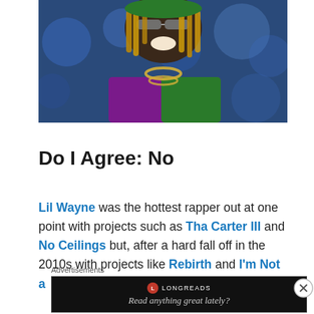[Figure (photo): Photo of Lil Wayne wearing sunglasses, a green beanie, a purple and green jacket, and gold chains, smiling at what appears to be a concert or event with blue lighting in the background.]
Do I Agree: No
Lil Wayne was the hottest rapper out at one point with projects such as Tha Carter III and No Ceilings but, after a hard fall off in the 2010s with projects like Rebirth and I'm Not a
Advertisements
[Figure (other): Longreads advertisement banner with text 'Read anything great lately?' on a black background with the Longreads logo.]